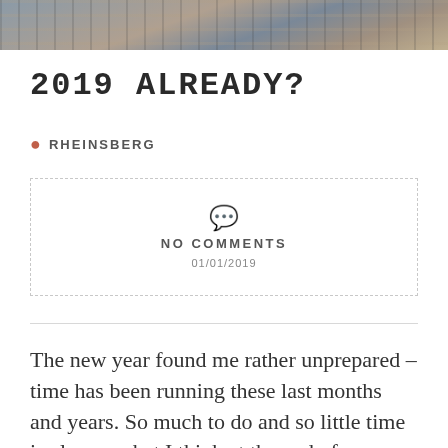[Figure (photo): Aerial or panoramic photograph of a cityscape or urban area, shown as a horizontal strip at the top of the page]
2019 ALREADY?
RHEINSBERG
NO COMMENTS
01/01/2019
The new year found me rather unprepared – time has been running these last months and years. So much to do and so little time is always what I think at the end of a